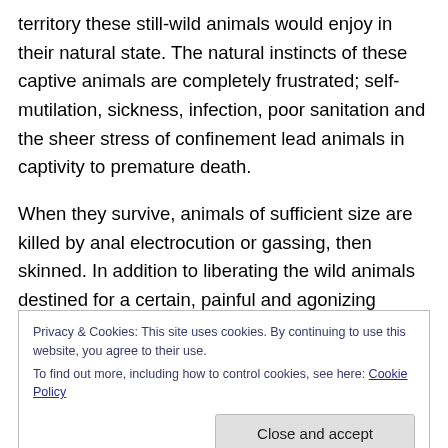territory these still-wild animals would enjoy in their natural state. The natural instincts of these captive animals are completely frustrated; self-mutilation, sickness, infection, poor sanitation and the sheer stress of confinement lead animals in captivity to premature death.
When they survive, animals of sufficient size are killed by anal electrocution or gassing, then skinned. In addition to liberating the wild animals destined for a certain, painful and agonizing death, another goal of liberationists is to cause economic damage to fur retailers and farms;
Privacy & Cookies: This site uses cookies. By continuing to use this website, you agree to their use.
To find out more, including how to control cookies, see here: Cookie Policy
addition to the direct liberation of animals from conditions